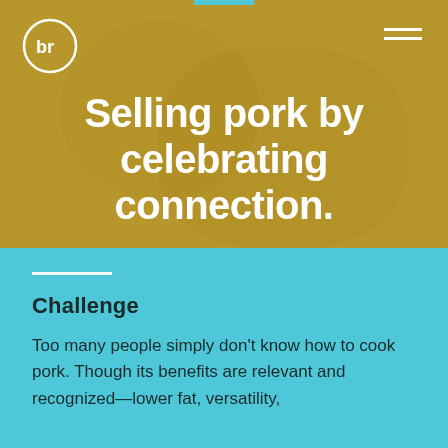[Figure (photo): Hero image with golden/amber tinted overlay showing people, with br logo top left, teal accent bar at top center, and hamburger menu icon top right]
Selling pork by celebrating connection.
Challenge
Too many people simply don't know how to cook pork. Though its benefits are relevant and recognized—lower fat, versatility,